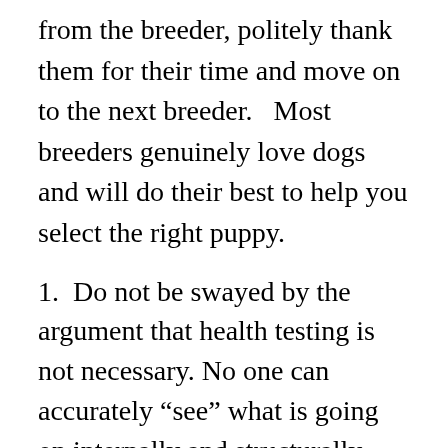from the breeder, politely thank them for their time and move on to the next breeder.   Most breeders genuinely love dogs and will do their best to help you select the right puppy.
1.  Do not be swayed by the argument that health testing is not necessary. No one can accurately “see” what is going on internally and structurally without testing.2.  Do not base your judgment wholly on appraisal scores. They are one small part of a big picture and are extremely subjective.3.  Do not believe everything you hear from breeders or see on fancy websites. Check and double